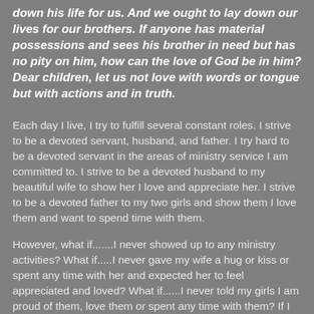down his life for us.  And we ought to lay down our lives for our brothers.  If anyone has material possessions and sees his brother in need but has no pity on him, how can the love of God be in him?  Dear children, let us not love with words or tongue but with actions and in truth.
Each day I live, I try to fulfill several constant roles.  I strive to be a devoted servant, husband, and father.  I try hard to be a devoted servant in the areas of ministry service I am committed to.  I strive to be a devoted husband to my beautiful wife to show her I love and appreciate her.  I strive to be a devoted father to my two girls and show them I love them and want to spend time with them.
However, what if.......I never showed up to any ministry activities?  What if.....I never gave my wife a hug or kiss or spent any time with her and expected her to feel appreciated and loved?  What if......I never told my girls I am proud of them, love them or spent any time with them?  If I failed to do any of these things, I would not be thought of very highly by